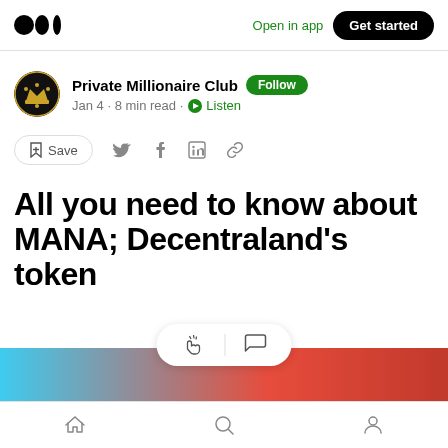Open in app  Get started
Private Millionaire Club  Follow
Jan 4 · 8 min read · Listen
Save
All you need to know about MANA; Decentraland's token
[Figure (screenshot): Colorful article header image strip showing abstract colors]
Home  Search  Profile